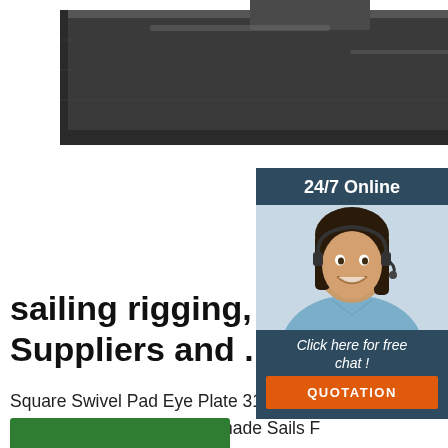[Figure (photo): Metal square swivel pad eye plate, dark steel, photographed from above at an angle, showing flat base with raised loop hardware]
[Figure (photo): 24/7 Online chat widget showing a smiling female customer service agent with headset, dark blue background, with 'Click here for free chat!' text and orange QUOTATION button]
sailing rigging, sailing r Suppliers and ...
Square Swivel Pad Eye Plate 316 Stainl 8mm Heavy Duty Hanger Shade Sails F Boat Rigging ... INGKS Rigging Hardwar Stainless Steel 304/316 6MM Boat Rou Diamond Pad Eye Plate with D Ring. $1.17-$7.53 Piece. 500 ... 1%% are other marine supplies, and 1%% are slings. There are 1342 sailing rigging suppliers, mainly ...
[Figure (logo): Orange dotted TOP badge/logo in bottom right corner]
[Figure (other): Green button at the bottom, partially visible]